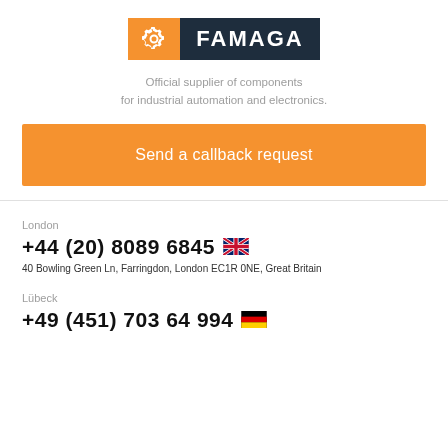[Figure (logo): FAMAGA company logo: orange square with white gear icon on left, dark navy rectangle with white bold text FAMAGA on right]
Official supplier of components for industrial automation and electronics.
Send a callback request
London
+44 (20) 8089 6845
40 Bowling Green Ln, Farringdon, London EC1R 0NE, Great Britain
Lübeck
+49 (451) 703 64 994